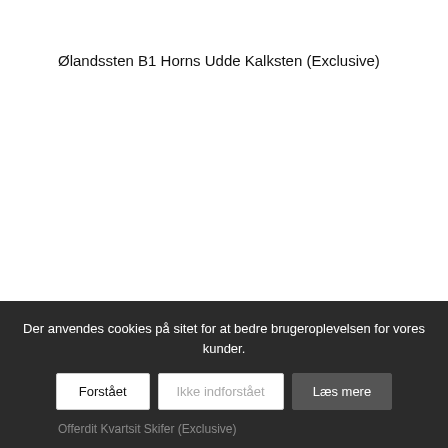Ølandssten B1 Horns Udde Kalksten (Exclusive)
Der anvendes cookies på sitet for at bedre brugeroplevelsen for vores kunder.
Forstået
Ikke indforstået
Læs mere
Offerdit Kvartsit Skifer (Exclusive)